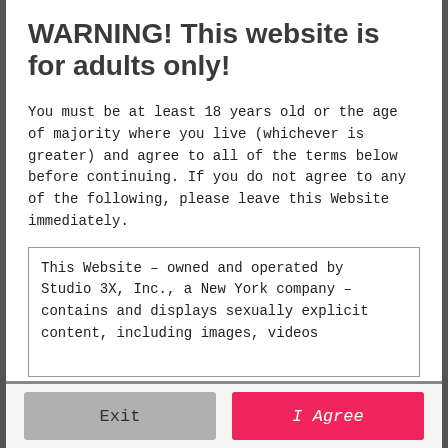WARNING! This website is for adults only!
You must be at least 18 years old or the age of majority where you live (whichever is greater) and agree to all of the terms below before continuing. If you do not agree to any of the following, please leave this Website immediately.
This Website – owned and operated by Studio 3X, Inc., a New York company – contains and displays sexually explicit content, including images, videos